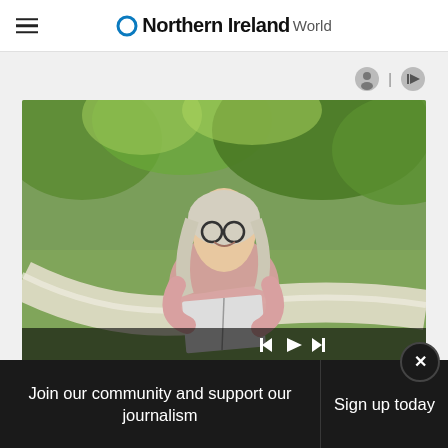ONorthern Ireland World
[Figure (photo): A middle-aged woman with blonde hair and glasses sitting in a hammock outdoors, smiling and holding an open book. Green trees in background. Media player controls visible at bottom.]
Join our community and support our journalism
Sign up today